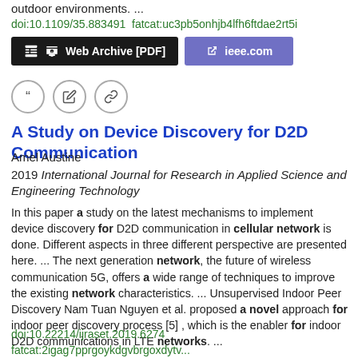outdoor environments.  ...
doi:10.1109/35.883491  fatcat:uc3pb5onhjb4lfh6ftdae2rt5i
Web Archive [PDF]
ieee.com
A Study on Device Discovery for D2D Communication
Amel Austine
2019 International Journal for Research in Applied Science and Engineering Technology
In this paper a study on the latest mechanisms to implement device discovery for D2D communication in cellular network is done. Different aspects in three different perspective are presented here.  ...  The next generation network, the future of wireless communication 5G, offers a wide range of techniques to improve the existing network characteristics.  ...  Unsupervised Indoor Peer Discovery Nam Tuan Nguyen et al. proposed a novel approach for indoor peer discovery process [5] , which is the enabler for indoor D2D communications in LTE networks.  ...
doi:10.22214/ijraset.2019.6274
fatcat:2igag7pprgoykdgvbrgoxdytv...